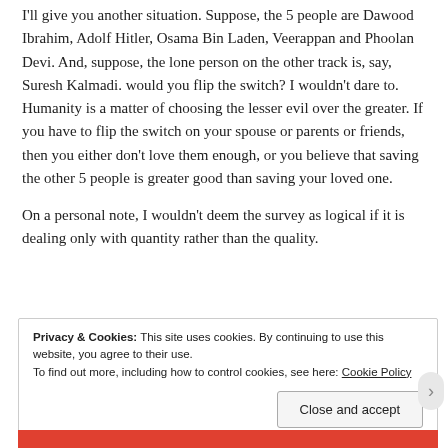I'll give you another situation. Suppose, the 5 people are Dawood Ibrahim, Adolf Hitler, Osama Bin Laden, Veerappan and Phoolan Devi. And, suppose, the lone person on the other track is, say, Suresh Kalmadi. would you flip the switch? I wouldn't dare to. Humanity is a matter of choosing the lesser evil over the greater. If you have to flip the switch on your spouse or parents or friends, then you either don't love them enough, or you believe that saving the other 5 people is greater good than saving your loved one.
On a personal note, I wouldn't deem the survey as logical if it is dealing only with quantity rather than the quality.
Privacy & Cookies: This site uses cookies. By continuing to use this website, you agree to their use. To find out more, including how to control cookies, see here: Cookie Policy
Close and accept